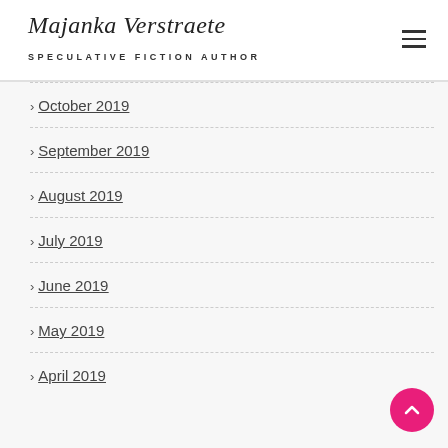Majanka Verstraete — SPECULATIVE FICTION AUTHOR
October 2019
September 2019
August 2019
July 2019
June 2019
May 2019
April 2019